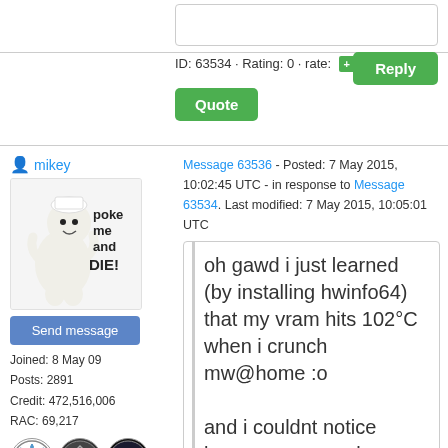ID: 63534 · Rating: 0 · rate: [+] / [-] [x]
Reply
Quote
mikey
[Figure (illustration): Pillsbury Doughboy mascot with text 'poke me and DIE!']
Send message
Joined: 8 May 09
Posts: 2891
Credit: 472,516,006
RAC: 69,217
[Figure (illustration): Three circular badges/awards icons]
Message 63536 - Posted: 7 May 2015, 10:02:45 UTC - in response to Message 63534. Last modified: 7 May 2015, 10:05:01 UTC
oh gawd i just learned (by installing hwinfo64) that my vram hits 102°C when i crunch mw@home :o

and i couldnt notice because gpuz only shows the core temp